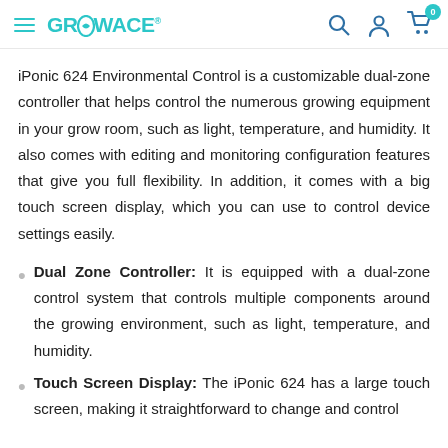GrowAce
iPonic 624 Environmental Control is a customizable dual-zone controller that helps control the numerous growing equipment in your grow room, such as light, temperature, and humidity. It also comes with editing and monitoring configuration features that give you full flexibility. In addition, it comes with a big touch screen display, which you can use to control device settings easily.
Dual Zone Controller: It is equipped with a dual-zone control system that controls multiple components around the growing environment, such as light, temperature, and humidity.
Touch Screen Display: The iPonic 624 has a large touch screen, making it straightforward to change and control